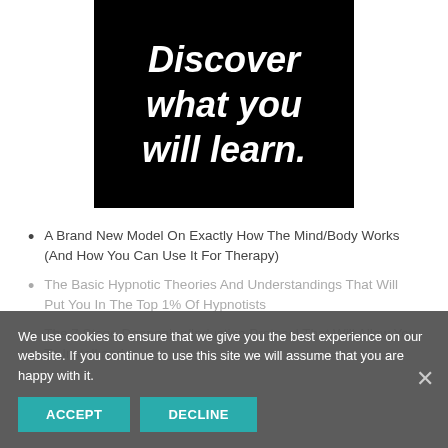[Figure (illustration): Black background image with white bold italic text reading 'Discover what you will learn.']
A Brand New Model On Exactly How The Mind/Body Works (And How You Can Use It For Therapy)
The Basic Hypnotic Theories And Understandings That Will Put You In The Top 1% Of Hypnotists
The 7 Stage Deepening/Induction Protocol That Will Allow You To Install and
We use cookies to ensure that we give you the best experience on our website. If you continue to use this site we will assume that you are happy with it.